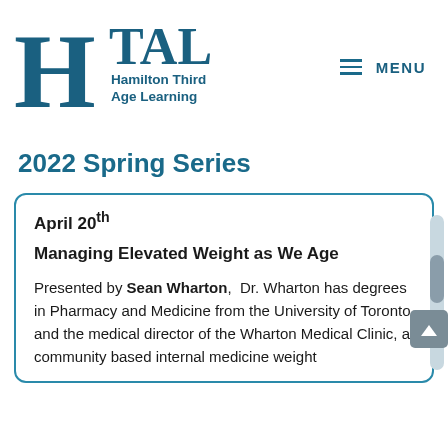HTAL Hamilton Third Age Learning | MENU
2022 Spring Series
April 20th
Managing Elevated Weight as We Age
Presented by Sean Wharton,  Dr. Wharton has degrees in Pharmacy and Medicine from the University of Toronto and the medical director of the Wharton Medical Clinic, a community based internal medicine weight